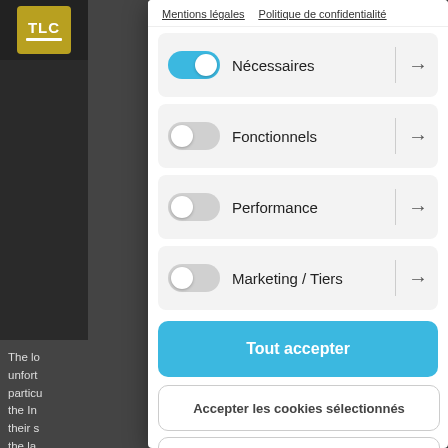[Figure (screenshot): Screenshot of a cookie consent modal dialog on a website. The modal has a white background and is overlaid on a dark webpage. The modal contains toggle switches for Nécessaires (on), Fonctionnels (off), Performance (off), and Marketing / Tiers (off), plus three buttons: Tout accepter (blue), Accepter les cookies sélectionnés (white), and Tout refuser (white). The background shows a TLC logo and partial article text.]
Mentions légales   Politique de confidentialité
Nécessaires →
Fonctionnels →
Performance →
Marketing / Tiers →
Tout accepter
Accepter les cookies sélectionnés
Tout refuser
The lo unfort particu the In their s the la commu not ju knowledge.